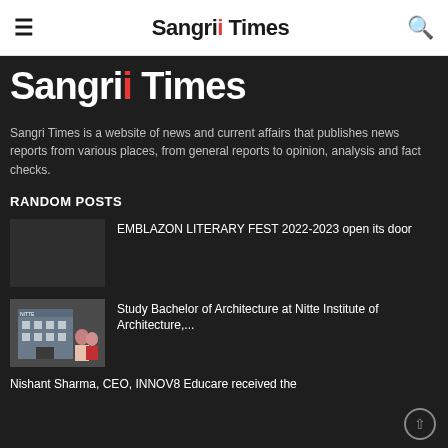Sangri Times — navigation bar with hamburger menu and search icon
Sangri Times
Sangri Times is a website of news and current affairs that publishes news reports from various places, from general reports to opinion, analysis and fact checks.
RANDOM POSTS
EMBLAZON LITERARY FEST 2022-2023 open its door
Study Bachelor of Architecture at Nitte Institute of Architecture,...
Nishant Sharma, CEO, INNOV8 Educare received the